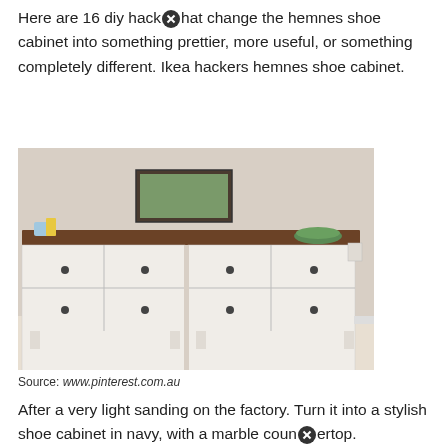Here are 16 diy hacks that change the hemnes shoe cabinet into something prettier, more useful, or something completely different. Ikea hackers hemnes shoe cabinet.
[Figure (photo): A white IKEA Hemnes shoe cabinet with 8 drop-front compartments arranged in 2 rows and 4 columns, topped with a dark wood panel. A framed picture hangs on the wall above it, and a green bowl sits on the right side of the top. The cabinet is placed against a light-colored wall on light flooring.]
Source: www.pinterest.com.au
After a very light sanding on the factory. Turn it into a stylish shoe cabinet in navy, with a marble countertop.